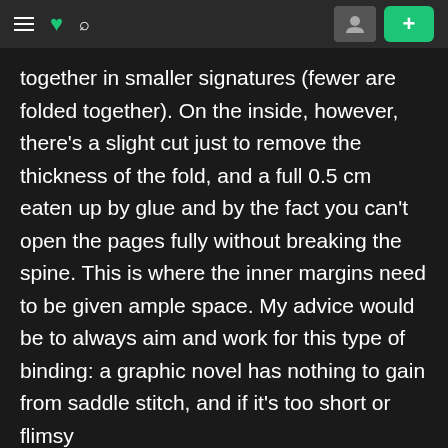Navigation bar with hamburger menu, DeviantArt logo, search icon, user button, and plus button
together in smaller signatures (fewer are folded together). On the inside, however, there's a slight cut just to remove the thickness of the fold, and a full 0.5 cm eaten up by glue and by the fact you can't open the pages fully without breaking the spine. This is where the inner margins need to be given ample space. My advice would be to always aim and work for this type of binding: a graphic novel has nothing to gain from saddle stitch, and if it's too short or flimsy